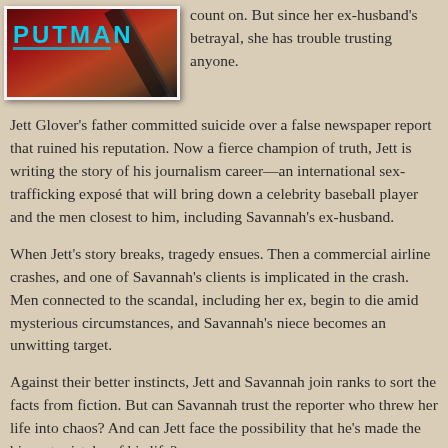[Figure (illustration): Book cover with title 'PUTMAN' in cyan letters on a dark red/orange background with a diagonal slash graphic]
count on. But since her ex-husband's betrayal, she has trouble trusting anyone.
Jett Glover's father committed suicide over a false newspaper report that ruined his reputation. Now a fierce champion of truth, Jett is writing the story of his journalism career—an international sex-trafficking exposé that will bring down a celebrity baseball player and the men closest to him, including Savannah's ex-husband.
When Jett's story breaks, tragedy ensues. Then a commercial airline crashes, and one of Savannah's clients is implicated in the crash. Men connected to the scandal, including her ex, begin to die amid mysterious circumstances, and Savannah's niece becomes an unwitting target.
Against their better instincts, Jett and Savannah join ranks to sort the facts from fiction. But can Savannah trust the reporter who threw her life into chaos? And can Jett face the possibility that he's made the biggest mistake of his life?